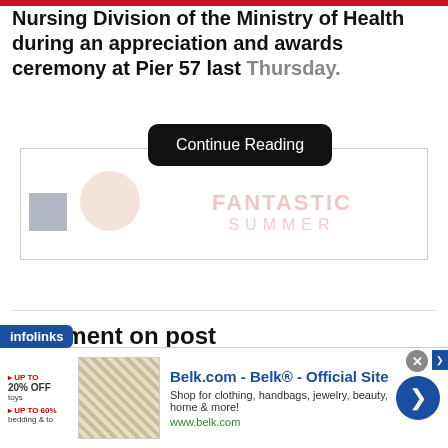Nursing Division of the Ministry of Health during an appreciation and awards ceremony at Pier 57 last Thursday.
[Figure (screenshot): Continue Reading button overlay (dark rounded rectangle) over a partially visible advertisement banner showing 'FANTASTIC SUMMER' text with faded pink tones and a tree/circle graphic.]
Comment on post
Please enter your valid email address.
Your email address will not be published. Required fields are marked *
[Figure (screenshot): Infolinks advertisement bar and Belk.com advertisement banner at the bottom of the page, including a close button, thumbnail image, and a blue circular arrow navigation button.]